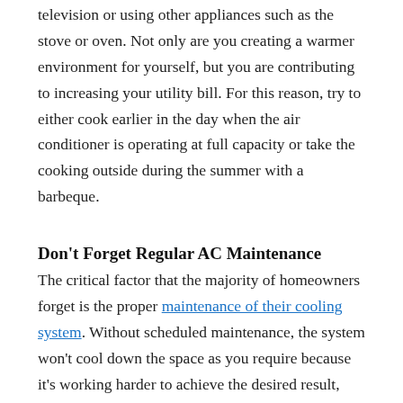television or using other appliances such as the stove or oven. Not only are you creating a warmer environment for yourself, but you are contributing to increasing your utility bill. For this reason, try to either cook earlier in the day when the air conditioner is operating at full capacity or take the cooking outside during the summer with a barbeque.
Don't Forget Regular AC Maintenance
The critical factor that the majority of homeowners forget is the proper maintenance of their cooling system. Without scheduled maintenance, the system won't cool down the space as you require because it's working harder to achieve the desired result, which will lead to a spike in your energy bill.